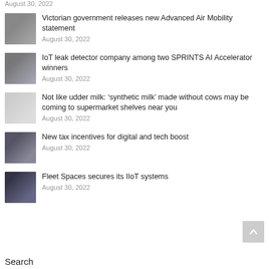August 30, 2022
Victorian government releases new Advanced Air Mobility statement
August 30, 2022
IoT leak detector company among two SPRINTS AI Accelerator winners
August 30, 2022
Not like udder milk: ‘synthetic milk’ made without cows may be coming to supermarket shelves near you
August 30, 2022
New tax incentives for digital and tech boost
August 30, 2022
Fleet Spaces secures its IIoT systems
August 30, 2022
Search